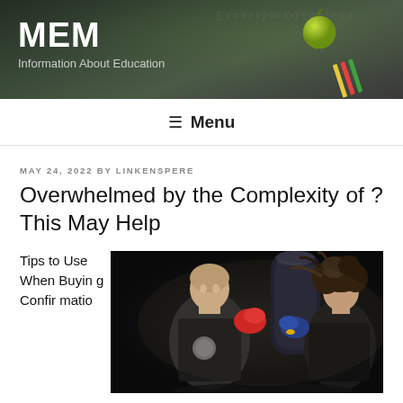MEM
Information About Education
☰ Menu
MAY 24, 2022 BY LINKENSPERE
Overwhelmed by the Complexity of ? This May Help
Tips to Use When Buying Confirmation
[Figure (photo): Two people sparring in a boxing match. One bald male fighter wearing red gloves punches toward a female fighter with curly hair wearing blue gloves, with a heavy punching bag visible in the background. Dark studio lighting.]